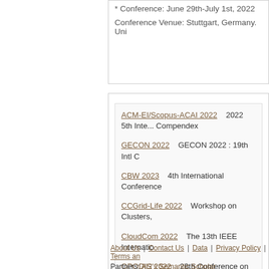* Conference: June 29th-July 1st, 2022
Conference Venue: Stuttgart, Germany. Uni...
ACM-EI/Scopus-ACAI 2022   2022 5th Inte... Compendex
GECON 2022   GECON 2022 : 19th Intl C...
CBW 2023   4th International Conference ...
CCGrid-Life 2022   Workshop on Clusters,...
CloudCom 2022   The 13th IEEE Internatio...
OPODIS 2022   26th Conference on Princ...
ICISE--EI 2022   2022 the 7th Internationa...
Distributed ML and Opt. 2023   Distributed...
PODC 2023   Principles of Distributed Con...
MLT 2023   4th International Conference o...
About Us | Contact Us | Data | Privacy Policy | Terms an... Partners: AI2's Semantic Scholar This wiki is licensed under a Creative Commons Attribu...